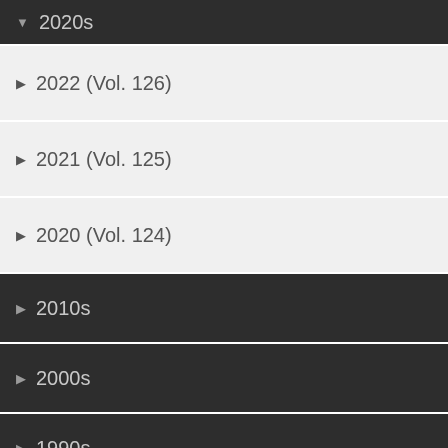▼ 2020s
▶ 2022 (Vol. 126)
▶ 2021 (Vol. 125)
▶ 2020 (Vol. 124)
▶ 2010s
▶ 2000s
▶ 1990s
▶ 1980s
▶ 1970s
▶ 1960s
▶ 1950s
▶ 1940s